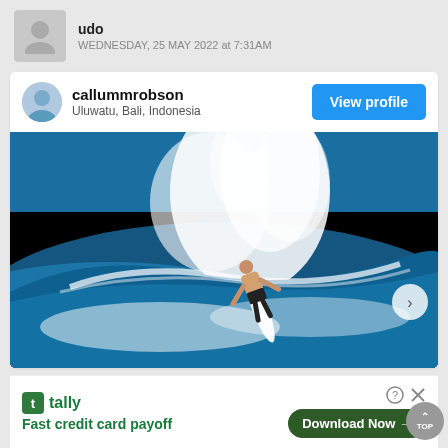udo
WEDNESDAY, 25 MAY 2022 at 7:31AM
callummrobson
Uluwatu, Bali, Indonesia
View profile
[Figure (photo): Surfer performing a maneuver on a large wave at Uluwatu, Bali, Indonesia. The surfer is crouched low on a white surfboard with spray exploding behind them against a vivid blue ocean background.]
tally
Fast credit card payoff
Download Now →